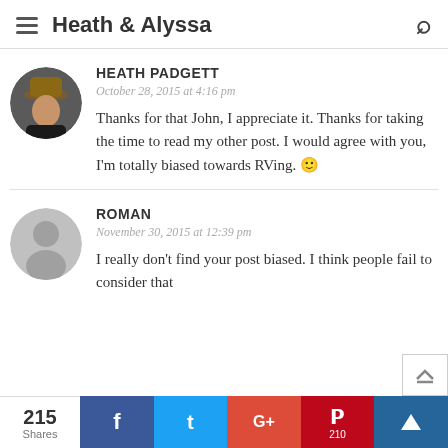Heath & Alyssa
HEATH PADGETT
October 28, 2015 at 4:16 pm
Thanks for that John, I appreciate it. Thanks for taking the time to read my other post. I would agree with you, I'm totally biased towards RVing. 🙂
ROMAN
November 30, 2015 at 12:39 pm
I really don't find your post biased. I think people fail to consider that
215 Shares  f  t  G+  P 210  crown